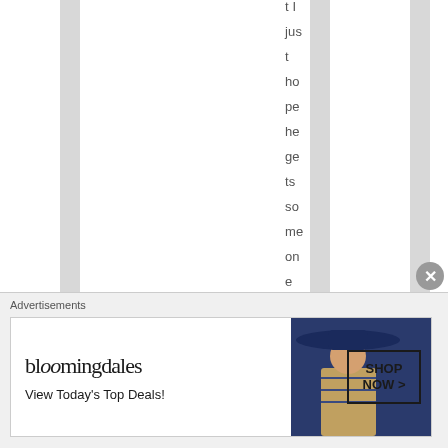t I just hope he gets someone that actually
Advertisements
[Figure (other): Bloomingdale's advertisement banner showing logo, 'View Today's Top Deals!' tagline, a woman in a wide-brim hat, and a 'SHOP NOW >' button]